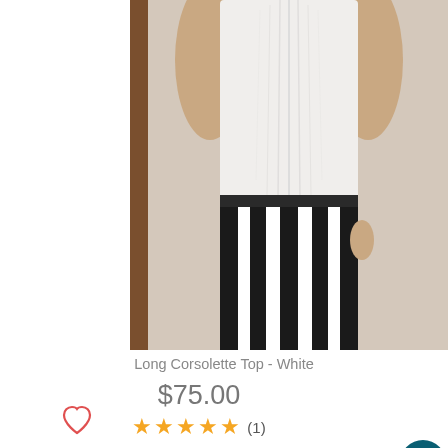[Figure (photo): Product photo of a model wearing a white Long Corsolette Top with black and white striped pants, upper body crop]
Long Corsolette Top - White
$75.00
★★★★★ (1)
SELECT OPTIONS
[Figure (photo): Second product photo showing an item on a mannequin, dark background, with a dark/black garment visible, plus heart wishlist icon and Rewards badge overlay]